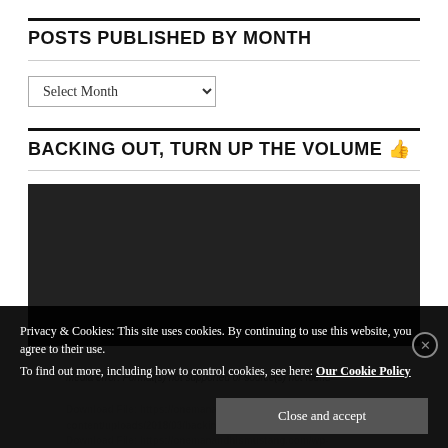POSTS PUBLISHED BY MONTH
Select Month
BACKING OUT, TURN UP THE VOLUME 👍
[Figure (screenshot): Media player error screen showing: 'Media error: Format(s) not supported or source(s) not found'. Download File links to https://onemanandhismustang.com/wp-content/uploads/2018/03/backing-out.mp4?_=2 (listed twice)]
Privacy & Cookies: This site uses cookies. By continuing to use this website, you agree to their use.
To find out more, including how to control cookies, see here: Our Cookie Policy
Close and accept